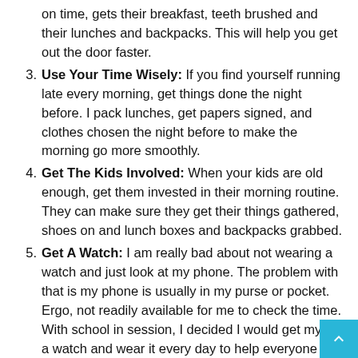on time, gets their breakfast, teeth brushed and their lunches and backpacks. This will help you get out the door faster.
3. Use Your Time Wisely: If you find yourself running late every morning, get things done the night before. I pack lunches, get papers signed, and clothes chosen the night before to make the morning go more smoothly.
4. Get The Kids Involved: When your kids are old enough, get them invested in their morning routine. They can make sure they get their things gathered, shoes on and lunch boxes and backpacks grabbed.
5. Get A Watch: I am really bad about not wearing a watch and just look at my phone. The problem with that is my phone is usually in my purse or pocket. Ergo, not readily available for me to check the time. With school in session, I decided I would get myself a watch and wear it every day to help everyone be on time for school.